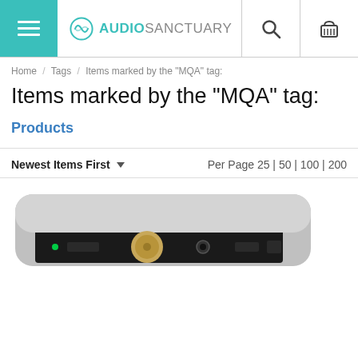Audio Sanctuary — navigation header with hamburger menu, logo, search, and cart icons
Home / Tags / Items marked by the "MQA" tag:
Items marked by the "MQA" tag:
Products
Newest Items First   Per Page 25 | 50 | 100 | 200
[Figure (photo): Photo of an audio DAC/amplifier device — a flat rectangular silver unit with black front panel, volume knob, headphone jack, and indicator lights]